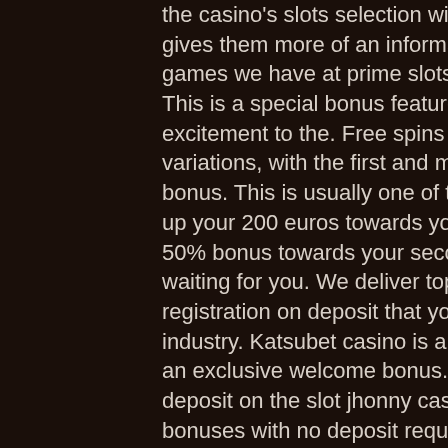the casino's slots selection without spending any money. This gives them more of an informative character. Loads of the slot games we have at prime slots come with a free spins round. This is a special bonus feature that adds a lot of fun and excitement to the. Free spins slots come in two exciting variations, with the first and most popular being an in-game bonus. This is usually one of the highest paying features. Grab up your 200 euros towards your first deposit + 20 free spins. 50% bonus towards your second deposit of up to 100 eur is waiting for you. We deliver top-tier free spins with no registration on deposit that you can use on the best slots in the industry. Katsubet casino is a highly played online casino with an exclusive welcome bonus. Sign up for 50 free spins no deposit on the slot jhonny cash. Get the best free spins bonuses with no deposit required